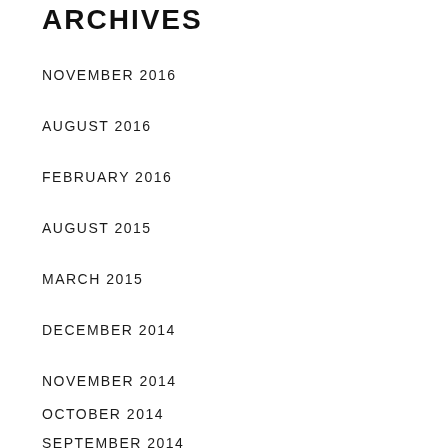ARCHIVES
NOVEMBER 2016
AUGUST 2016
FEBRUARY 2016
AUGUST 2015
MARCH 2015
DECEMBER 2014
NOVEMBER 2014
OCTOBER 2014
SEPTEMBER 2014